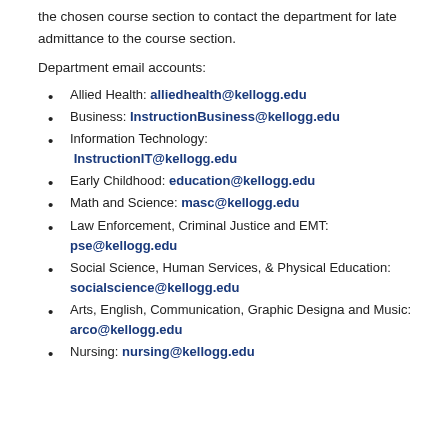the chosen course section to contact the department for late admittance to the course section.
Department email accounts:
Allied Health: alliedhealth@kellogg.edu
Business: InstructionBusiness@kellogg.edu
Information Technology: InstructionIT@kellogg.edu
Early Childhood: education@kellogg.edu
Math and Science: masc@kellogg.edu
Law Enforcement, Criminal Justice and EMT: pse@kellogg.edu
Social Science, Human Services, & Physical Education: socialscience@kellogg.edu
Arts, English, Communication, Graphic Designa and Music: arco@kellogg.edu
Nursing: nursing@kellogg.edu